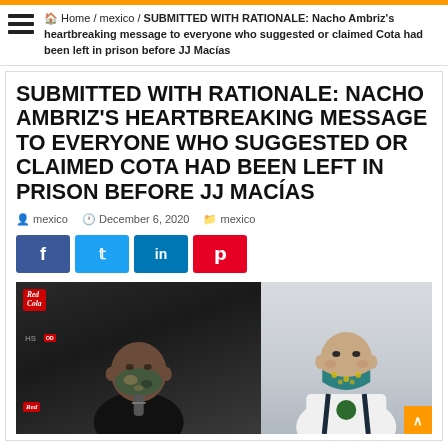Home / mexico / SUBMITTED WITH RATIONALE: Nacho Ambriz's heartbreaking message to everyone who suggested or claimed Cota had been left in prison before JJ Macías
SUBMITTED WITH RATIONALE: NACHO AMBRIZ'S HEARTBREAKING MESSAGE TO EVERYONE WHO SUGGESTED OR CLAIMED COTA HAD BEEN LEFT IN PRISON BEFORE JJ MACÍAS
mexico   December 6, 2020   mexico
[Figure (screenshot): Social media share buttons: Facebook (blue), Twitter (light blue), LinkedIn (blue), Pinterest (red)]
[Figure (photo): Two side-by-side photos: left shows a man (Nacho Ambriz) in a dark jacket wearing a camouflage-patterned face mask at a press conference with Red Cola and sponsor banners visible; right shows another man (JJ Macías) wearing a teal/green patterned face mask and a white jacket with a green emblem, against a light gray background.]